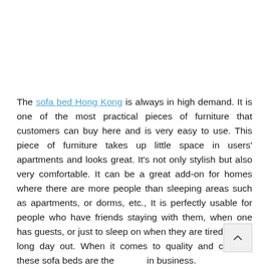The sofa bed Hong Kong is always in high demand. It is one of the most practical pieces of furniture that customers can buy here and is very easy to use. This piece of furniture takes up little space in users' apartments and looks great. It's not only stylish but also very comfortable. It can be a great add-on for homes where there are more people than sleeping areas such as apartments, or dorms, etc., It is perfectly usable for people who have friends staying with them, when one has guests, or just to sleep on when they are tired after a long day out. When it comes to quality and comfort, these sofa beds are the in business.